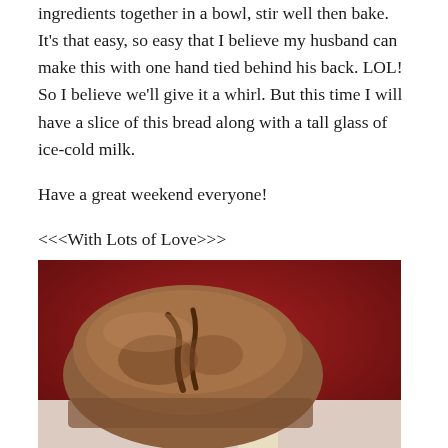ingredients together in a bowl, stir well then bake. It's that easy, so easy that I believe my husband can make this with one hand tied behind his back. LOL! So I believe we'll give it a whirl. But this time I will have a slice of this bread along with a tall glass of ice-cold milk.
Have a great weekend everyone!
<<<With Lots of Love>>>
[Figure (photo): A loaf of baked bread on a white surface against a red textured background]